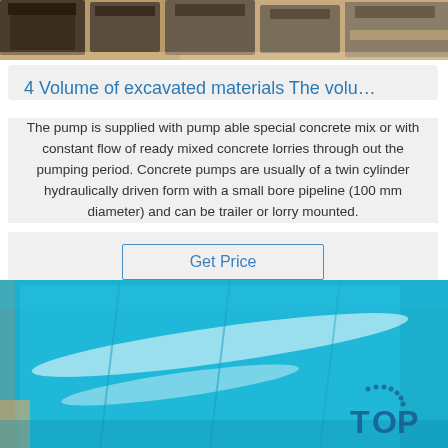[Figure (photo): Top portion of a photo showing dark packaged items/boxes on a tan/brown background]
4 Volume of excavated materials The volu…
The pump is supplied with pump able special concrete mix or with constant flow of ready mixed concrete lorries through out the pumping period. Concrete pumps are usually of a twin cylinder hydraulically driven form with a small bore pipeline (100 mm diameter) and can be trailer or lorry mounted.
Get Price
[Figure (photo): Photo of shiny blue metallic sheet material on a cardboard surface, with a TOP logo watermark in the bottom right corner]